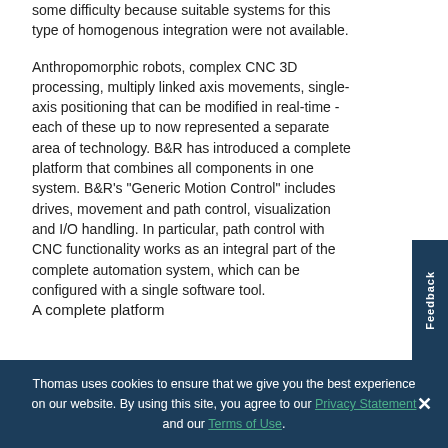some difficulty because suitable systems for this type of homogenous integration were not available.
Anthropomorphic robots, complex CNC 3D processing, multiply linked axis movements, single-axis positioning that can be modified in real-time - each of these up to now represented a separate area of technology. B&R has introduced a complete platform that combines all components in one system. B&R's "Generic Motion Control" includes drives, movement and path control, visualization and I/O handling. In particular, path control with CNC functionality works as an integral part of the complete automation system, which can be configured with a single software tool.
A complete platform
Thomas uses cookies to ensure that we give you the best experience on our website. By using this site, you agree to our Privacy Statement and our Terms of Use.